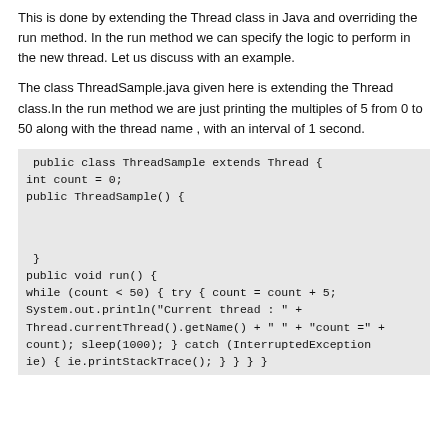This is done by extending the Thread class in Java and overriding the run method. In the run method we can specify the logic to perform in the new thread. Let us discuss with an example.
The class ThreadSample.java given here is extending the Thread class.In the run method we are just printing the multiples of 5 from 0 to 50 along with the thread name , with an interval of 1 second.
public class ThreadSample extends Thread {
int count = 0;
public ThreadSample() {


 }
public void run() {
while (count < 50) { try { count = count + 5;
System.out.println("Current thread : " +
Thread.currentThread().getName() + " " + "count =" +
count); sleep(1000); } catch (InterruptedException
ie) { ie.printStackTrace(); } } } }